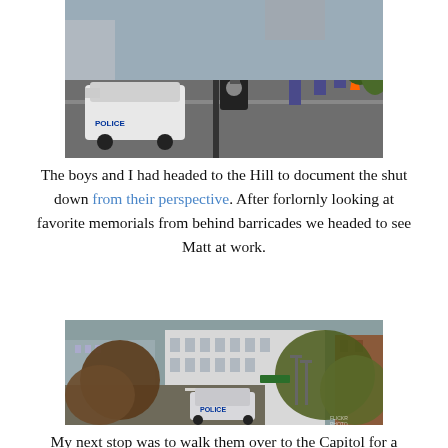[Figure (photo): Street-level photo showing a police car and officers at an intersection, with a green street sign showing '2 St NE 100' visible, in Washington DC during government shutdown.]
The boys and I had headed to the Hill to document the shut down from their perspective. After forlornly looking at favorite memorials from behind barricades we headed to see Matt at work.
[Figure (photo): Elevated aerial view of a Washington DC street showing government buildings, trees, and a police car blocking the road, with a watermark in the lower right corner.]
My next stop was to walk them over to the Capitol for a